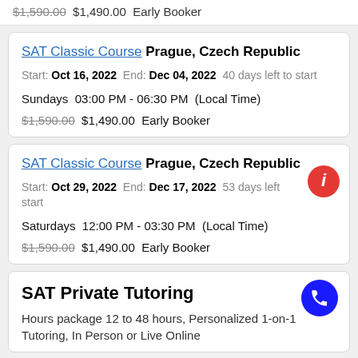$1,590.00  $1,490.00  Early Booker
SAT Classic Course  Prague, Czech Republic
Start: Oct 16, 2022  End: Dec 04, 2022  40 days left to start
Sundays  03:00 PM - 06:30 PM  (Local Time)
$1,590.00  $1,490.00  Early Booker
SAT Classic Course  Prague, Czech Republic
Start: Oct 29, 2022  End: Dec 17, 2022  53 days left to start
Saturdays  12:00 PM - 03:30 PM  (Local Time)
$1,590.00  $1,490.00  Early Booker
SAT Private Tutoring
Hours package 12 to 48 hours, Personalized 1-on-1 Tutoring, In Person or Live Online